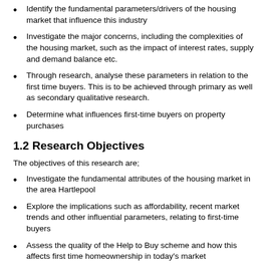Identify the fundamental parameters/drivers of the housing market that influence this industry
Investigate the major concerns, including the complexities of the housing market, such as the impact of interest rates, supply and demand balance etc.
Through research, analyse these parameters in relation to the first time buyers. This is to be achieved through primary as well as secondary qualitative research.
Determine what influences first-time buyers on property purchases
1.2 Research Objectives
The objectives of this research are;
Investigate the fundamental attributes of the housing market in the area Hartlepool
Explore the implications such as affordability, recent market trends and other influential parameters, relating to first-time buyers
Assess the quality of the Help to Buy scheme and how this affects first time homeownership in today's market